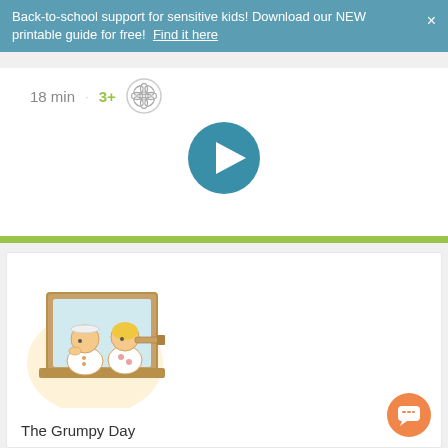Back-to-school support for sensitive kids! Download our NEW printable guide for free!  Find it here  ×
18 min  ·  3+
[Figure (illustration): Teal circular play button icon on white background with flower/rating icon]
[Figure (illustration): Cartoon illustration of two children looking out a wooden-framed window, one boy and one girl with a telescope, on a card. Title below reads: The Grumpy Day]